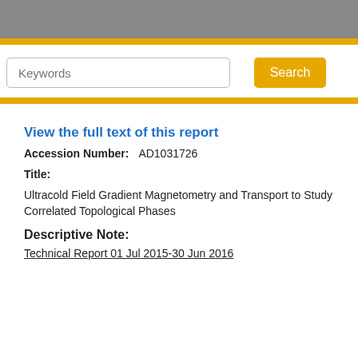Keywords | Search
View the full text of this report
Accession Number:   AD1031726
Title:
Ultracold Field Gradient Magnetometry and Transport to Study Correlated Topological Phases
Descriptive Note:
Technical Report 01 Jul 2015-30 Jun 2016